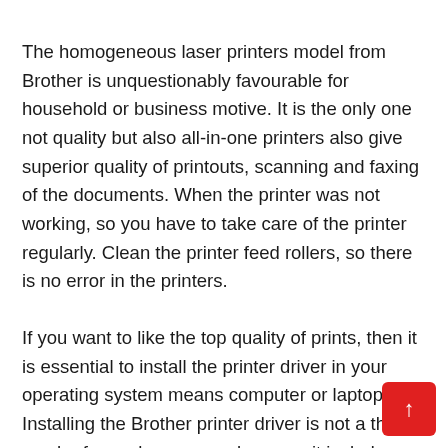The homogeneous laser printers model from Brother is unquestionably favourable for household or business motive. It is the only one not quality but also all-in-one printers also give superior quality of printouts, scanning and faxing of the documents. When the printer was not working, so you have to take care of the printer regularly. Clean the printer feed rollers, so there is no error in the printers.
If you want to like the top quality of prints, then it is essential to install the printer driver in your operating system means computer or laptop. Installing the Brother printer driver is not a that much of complex process because it includes few straightforward uncomplicated steps for brother printer drivers download. Brother printer drivers Windows 10 and